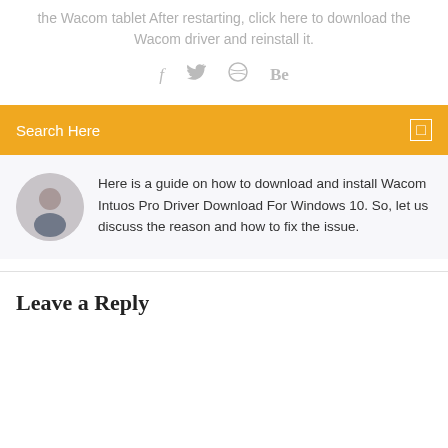the Wacom tablet After restarting, click here to download the Wacom driver and reinstall it.
[Figure (infographic): Social sharing icons: Facebook (f), Twitter bird, Dribbble (circle with lines), Behance (Be)]
Search Here
Here is a guide on how to download and install Wacom Intuos Pro Driver Download For Windows 10. So, let us discuss the reason and how to fix the issue.
Leave a Reply